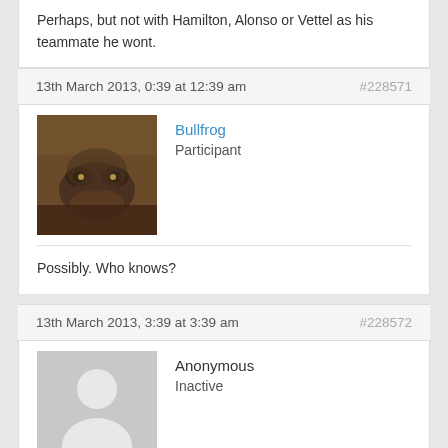Perhaps, but not with Hamilton, Alonso or Vettel as his teammate he wont.
13th March 2013, 0:39 at 12:39 am   #228571
[Figure (photo): Avatar photo of Bullfrog user - frog in water with orange/brown tones]
Bullfrog
Participant
Possibly. Who knows?
13th March 2013, 3:39 at 3:39 am   #228572
[Figure (photo): Anonymous user silhouette avatar - gray background with white person icon]
Anonymous
Inactive
I still think he deserved to win in 2005 and not so much in 2007, which should have really gone too either Alonso or Hamilton. So realistically, he could have had 2 already.

but I doubt the lotus can mark a proper challenge on a